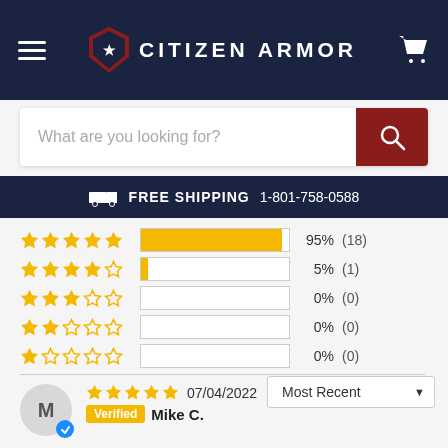CITIZEN ARMOR
[Figure (screenshot): Search bar with placeholder text 'What are you looking for?' and a red search button]
FREE SHIPPING 1-801-758-0588
[Figure (bar-chart): Star rating distribution]
Most Recent
07/04/2022
Verified Mike C.